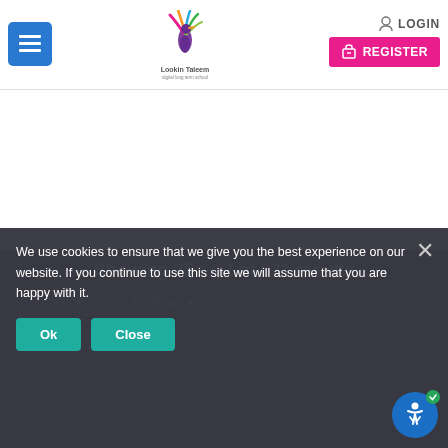LOGIN  REGISTER
[Figure (logo): Colorful peacock/bird logo with text 'Lookin Taleem' and tagline below]
Showing 25 – 32 of 621 results
Newest  ▾     8 Per Page  ▾
We use cookies to ensure that we give you the best experience on our website. If you continue to use this site we will assume that you are happy with it.
Ok   Close